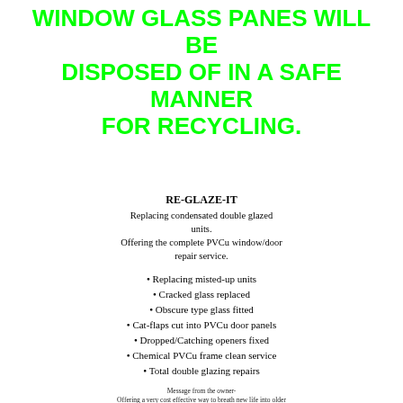WINDOW GLASS PANES WILL BE DISPOSED OF IN A SAFE MANNER FOR RECYCLING.
RE-GLAZE-IT
Replacing condensated double glazed units.
Offering the complete PVCu window/door repair service.
Replacing misted-up units
Cracked glass replaced
Obscure type glass fitted
Cat-flaps cut into PVCu door panels
Dropped/Catching openers fixed
Chemical PVCu frame clean service
Total double glazing repairs
Message from the owner-
Offering a very cost effective way to breath new life into older PVCu windows. As a customer you will be dealing directly with myself and I believe this to be the best formula in offering you a quality service at the absolute best possible price within the industry.
Our area coverage is within a 25 miles radius of derby centre... Again this limitation assists us in offering you the best possible competitively priced quotations.
Find us online at YELL.com
Business listed on JDERBYSHIRE.com